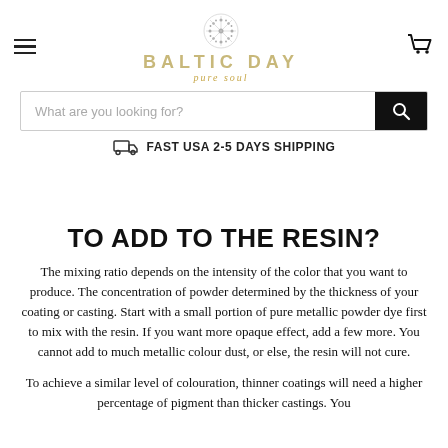[Figure (logo): Baltic Day pure soul logo with decorative snowflake/mandala icon above the brand name]
What are you looking for?
FAST USA 2-5 DAYS SHIPPING
TO ADD TO THE RESIN?
The mixing ratio depends on the intensity of the color that you want to produce. The concentration of powder determined by the thickness of your coating or casting. Start with a small portion of pure metallic powder dye first to mix with the resin. If you want more opaque effect, add a few more. You cannot add to much metallic colour dust, or else, the resin will not cure.
To achieve a similar level of colouration, thinner coatings will need a higher percentage of pigment than thicker castings. You